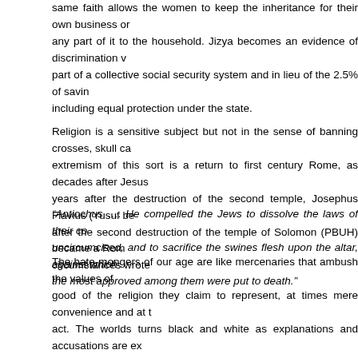same faith allows the women to keep the inheritance for their own business or any part of it to the household. Jizya becomes an evidence of discrimination v part of a collective social security system and in lieu of the 2.5% of savin including equal protection under the state.
Religion is a sensitive subject but not in the sense of banning crosses, skull ca extremism of this sort is a return to first century Rome, as decades after Jesus years after the destruction of the second temple, Josephus Flavius (Yusuf be after the second destruction of the temple of Solomon (PBUH) became a Rom circumstances wrote
“Antiochus …. He compelled the Jews to dissolve the laws of their co uncircumcised, and to sacrifice the swines flesh upon the altar, against which the most approved among them were put to death.”
The hate-mongers of our age are like mercenaries that ambush the values of good of the religion they claim to represent, at times mere convenience and at t act. The worlds turns black and white as explanations and accusations are ex way a few among us wish it to be. For instance, when one mentions the massa of the church in the Holocaust, that about 3% of Muslim men are polygam partners in the US alone for men is 7, that the ottoman empire under the mille govern affairs of minorities, this seems to split the world further in to an “us” parties in a conflict that had seemed distant. The clash of civilizations narrati have no distinct borders. To justify wrong’s of our age on the basis of history is have hard enough time agreeing on the present let alone over 1400 years of h